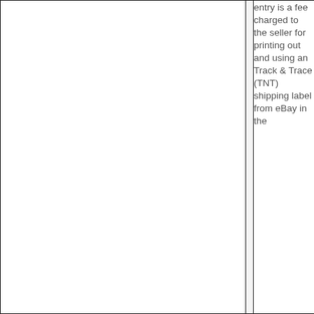|  |  | entry is a fee charged to the seller for printing out and using an Track & Trace (TNT) shipping label from eBay in the |